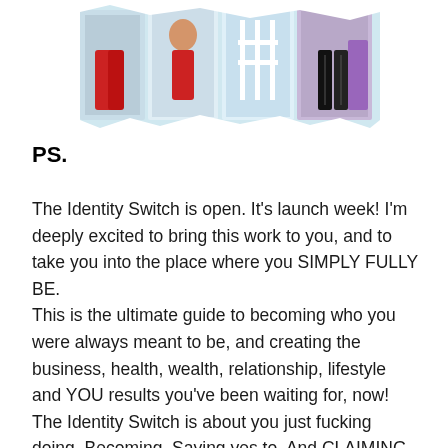[Figure (photo): Partial collage of photos showing people in colorful outfits, cropped at the top of the page]
PS.
The Identity Switch is open. It's launch week! I'm deeply excited to bring this work to you, and to take you into the place where you SIMPLY FULLY BE.
This is the ultimate guide to becoming who you were always meant to be, and creating the business, health, wealth, relationship, lifestyle and YOU results you've been waiting for, now! The Identity Switch is about you just fucking doing. Becoming. Saying yes to. And CLAIMING –